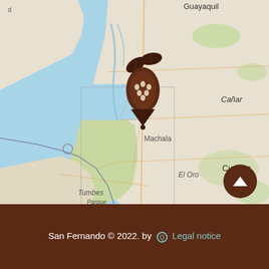[Figure (map): A geographic map showing the coastal Ecuador region including cities Guayaquil, Cuenca, Machala, Tumbes, and regions Cañar, Azuay, El Oro. A brown cacao pod marker with leaves is pinned near Guayaquil/Naranjal area.]
San Fernando © 2022. by Q Legal notice